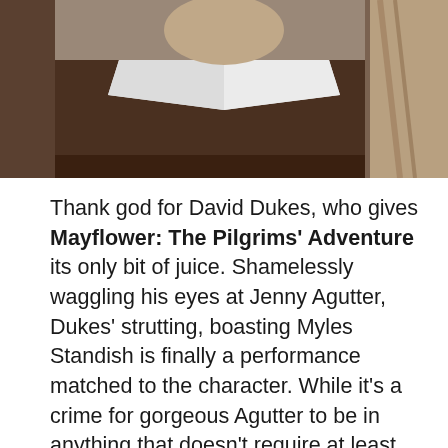[Figure (photo): Close-up photo of a person in historical Pilgrim-era costume, wearing a dark brown outfit with a large white Peter Pan collar, partially visible]
Thank god for David Dukes, who gives Mayflower: The Pilgrims' Adventure its only bit of juice. Shamelessly waggling his eyes at Jenny Agutter, Dukes' strutting, boasting Myles Standish is finally a performance matched to the character. While it's a crime for gorgeous Agutter to be in anything that doesn't require at least one disrobing, she manages a rather intriguing Priscilla Mullins, a young woman who acknowledges the naturalness (and even godliness) of women and men flirting and being attracted to each other, as she remains refreshingly open to the idea of taking either Dukes' Standish or Beck's Alden (you can see why quiet, unprepossessing Beck didn't go onto anything bigger after The Warriors…particularly when he weirdly reminds one of a butch Kay Lenz).